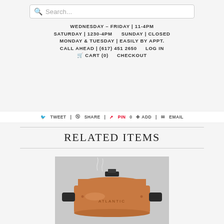Search...
WEDNESDAY – FRIDAY | 11-4PM
SATURDAY | 1230-4PM    SUNDAY | CLOSED
MONDAY & TUESDAY | EASILY BY APPT.
CALL AHEAD | (617) 451 2650    LOG IN
🛒 CART (0)    CHECKOUT
Tweet | Share | Pin 0 Add | Email
RELATED ITEMS
[Figure (photo): Copper roasting pan with black handles and lid labeled ATLANTIC, shown on a light gray background]